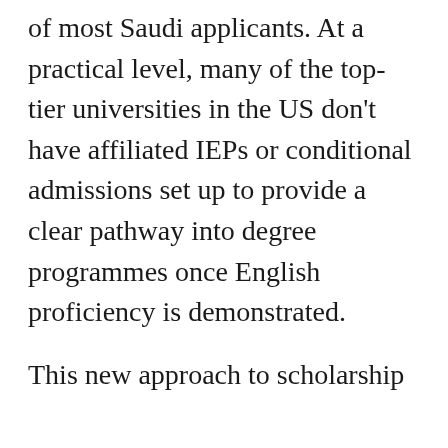of most Saudi applicants. At a practical level, many of the top-tier universities in the US don't have affiliated IEPs or conditional admissions set up to provide a clear pathway into degree programmes once English proficiency is demonstrated.

This new approach to scholarship